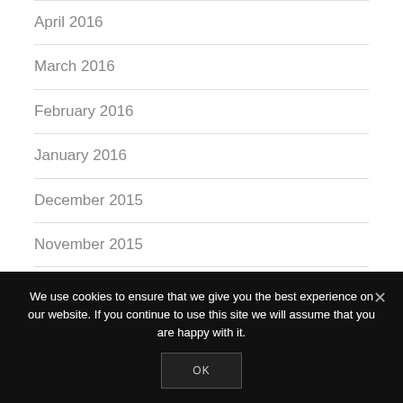April 2016
March 2016
February 2016
January 2016
December 2015
November 2015
We use cookies to ensure that we give you the best experience on our website. If you continue to use this site we will assume that you are happy with it.
OK